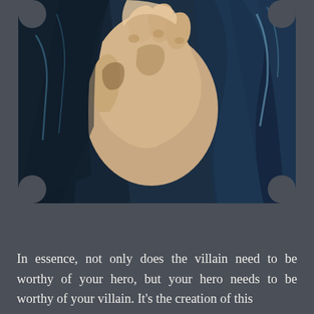[Figure (illustration): A stylized, comic-book or digital painting illustration showing a close-up of a person's hands clasped together, wearing a dark jacket/coat. The color palette features dark navy blues, teals, and warm skin tones rendered in a painterly, graphic-art style.]
In essence, not only does the villain need to be worthy of your hero, but your hero needs to be worthy of your villain. It's the creation of this